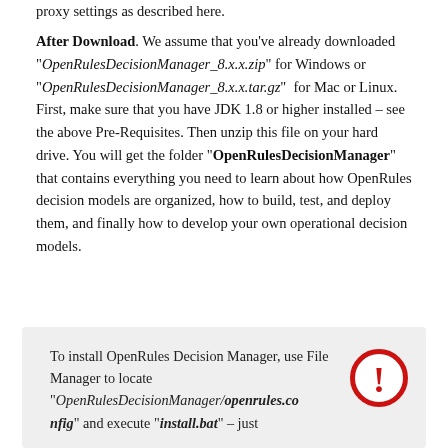proxy settings as described here.
After Download. We assume that you've already downloaded "OpenRulesDecisionManager_8.x.x.zip" for Windows or "OpenRulesDecisionManager_8.x.x.tar.gz" for Mac or Linux. First, make sure that you have JDK 1.8 or higher installed – see the above Pre-Requisites. Then unzip this file on your hard drive. You will get the folder "OpenRulesDecisionManager" that contains everything you need to learn about how OpenRules decision models are organized, how to build, test, and deploy them, and finally how to develop your own operational decision models.
To install OpenRules Decision Manager, use File Manager to locate "OpenRulesDecisionManager/openrules.config" and execute "install.bat" – just